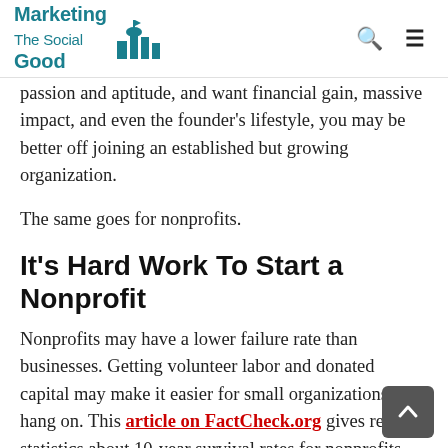Marketing The Social Good
passion and aptitude, and want financial gain, massive impact, and even the founder’s lifestyle, you may be better off joining an established but growing organization.
The same goes for nonprofits.
It’s Hard Work To Start a Nonprofit
Nonprofits may have a lower failure rate than businesses. Getting volunteer labor and donated capital may make it easier for small organizations to hang on. This article on FactCheck.org gives reliable statistics about 10-year survival rates for nonprofits. The rates are lower than the